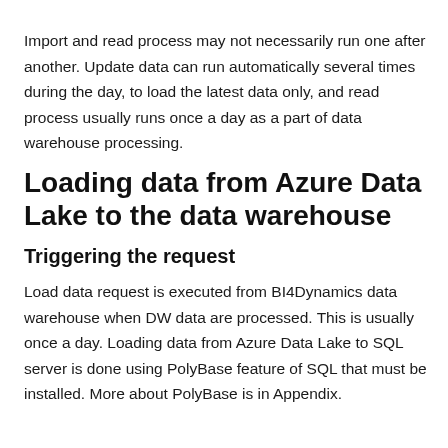Import and read process may not necessarily run one after another. Update data can run automatically several times during the day, to load the latest data only, and read process usually runs once a day as a part of data warehouse processing.
Loading data from Azure Data Lake to the data warehouse
Triggering the request
Load data request is executed from BI4Dynamics data warehouse when DW data are processed. This is usually once a day. Loading data from Azure Data Lake to SQL server is done using PolyBase feature of SQL that must be installed. More about PolyBase is in Appendix.